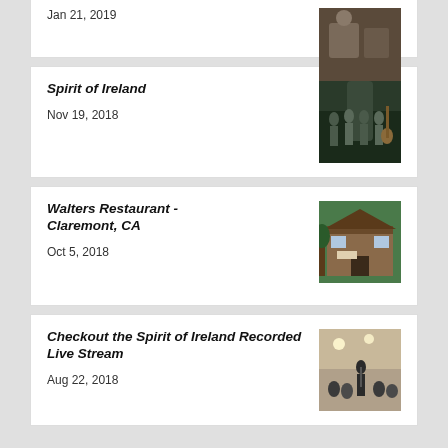Jan 21, 2019
Spirit of Ireland
Nov 19, 2018
Walters Restaurant - Claremont, CA
Oct 5, 2018
Checkout the Spirit of Ireland Recorded Live Stream
Aug 22, 2018